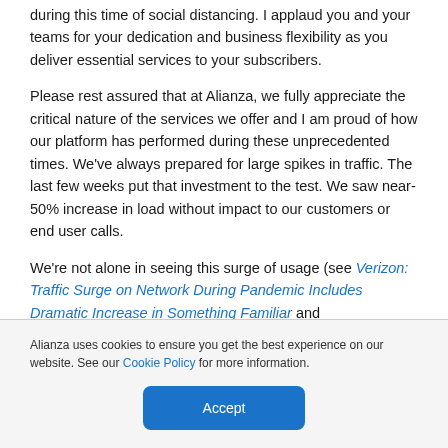during this time of social distancing. I applaud you and your teams for your dedication and business flexibility as you deliver essential services to your subscribers.
Please rest assured that at Alianza, we fully appreciate the critical nature of the services we offer and I am proud of how our platform has performed during these unprecedented times. We've always prepared for large spikes in traffic. The last few weeks put that investment to the test. We saw near-50% increase in load without impact to our customers or end user calls.
We're not alone in seeing this surge of usage (see Verizon: Traffic Surge on Network During Pandemic Includes Dramatic Increase in Something Familiar and
Alianza uses cookies to ensure you get the best experience on our website. See our Cookie Policy for more information.